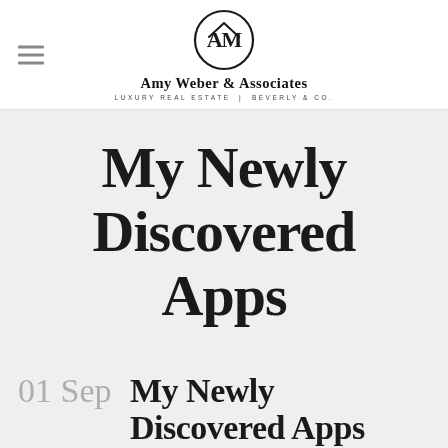[Figure (logo): Amy Weber & Associates logo with circular AM monogram, company name and tagline LUXURY REAL ESTATE | BEVERLY & CO.]
My Newly Discovered Apps
01 Sep My Newly Discovered Apps